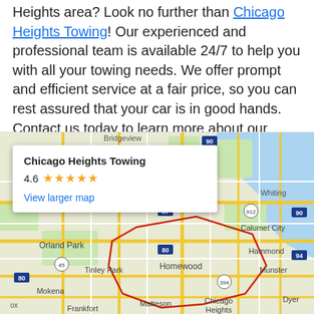Heights area? Look no further than Chicago Heights Towing! Our experienced and professional team is available 24/7 to help you with all your towing needs. We offer prompt and efficient service at a fair price, so you can rest assured that your car is in good hands. Contact us today to learn more about our services or schedule a tow!
[Figure (map): Google Maps embed showing Chicago Heights Towing location with surrounding area including Orland Park, Tinley Park, Homewood, Calumet City, Hammond, Munster, Mokena, Frankfort, Matteson, and Dyer. Info card shows business name 'Chicago Heights Towing', rating 4.6 with stars, and 'View larger map' link.]